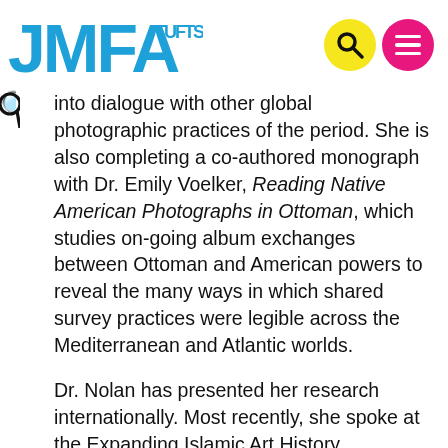CMFA TUFTS
into dialogue with other global photographic practices of the period. She is also completing a co-authored monograph with Dr. Emily Voelker, Reading Native American Photographs in Ottoman, which studies on-going album exchanges between Ottoman and American powers to reveal the many ways in which shared survey practices were legible across the Mediterranean and Atlantic worlds.
Dr. Nolan has presented her research internationally. Most recently, she spoke at the Expanding Islamic Art History Conference at the University of Vienna (2021) and Silver Atlantic Conference in Paris (2021), Annual College Art Association Conference (2021), the